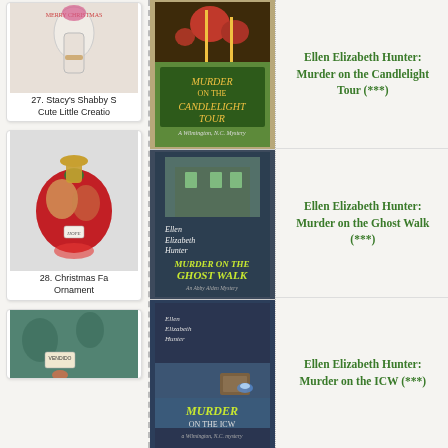[Figure (photo): Photo of a Christmas glass ornament/vase with flowers, ribbon]
27. Stacy's Shabby S Cute Little Creatio
[Figure (photo): Christmas fabric ornament ball with red and gold ribbons, tag with HOPE]
28. Christmas Fa Ornament
[Figure (photo): Teal/blue fabric with a tag and doll, partially visible]
[Figure (illustration): Book cover: Murder on the Candlelight Tour by Ellen Elizabeth Hunter]
Ellen Elizabeth Hunter: Murder on the Candlelight Tour (***)
[Figure (illustration): Book cover: Murder on the Ghost Walk by Ellen Elizabeth Hunter]
Ellen Elizabeth Hunter: Murder on the Ghost Walk (***)
[Figure (illustration): Book cover: Murder on the ICW by Ellen Elizabeth Hunter]
Ellen Elizabeth Hunter: Murder on the ICW (***)